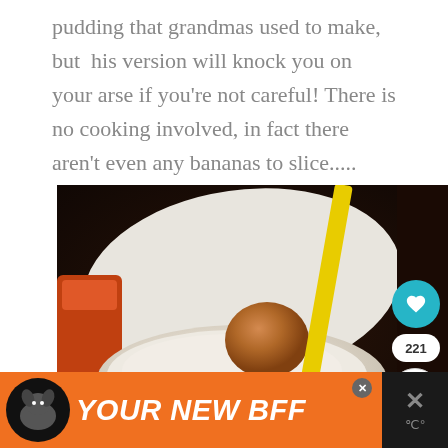pudding that grandmas used to make, but his version will knock you on your arse if you're not careful! There is no cooking involved, in fact there aren't even any bananas to slice.....
[Figure (photo): A bowl of creamy white pudding/dessert with a round orange/brown cookie or caramel ball on top and a yellow straw or utensil. A dark orange drink is visible on the left side. The bowl sits on a white napkin against a dark background. Social media interaction buttons (heart, share count 221, share) are visible on the right side of the image.]
[Figure (photo): Advertisement banner at the bottom: dark background with orange section showing a dog logo circle and text 'YOUR NEW BFF' in bold italic white letters. A small X close button is visible. The right side has a dark panel with an X icon and temperature symbol.]